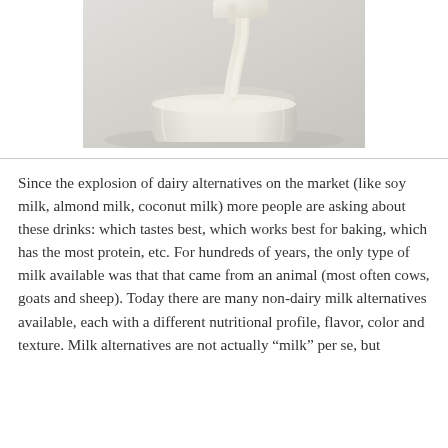[Figure (photo): A glass container receiving a stream of white milk being poured from a carton/pitcher, on a light grey background.]
Since the explosion of dairy alternatives on the market (like soy milk, almond milk, coconut milk) more people are asking about these drinks: which tastes best, which works best for baking, which has the most protein, etc. For hundreds of years, the only type of milk available was that that came from an animal (most often cows, goats and sheep). Today there are many non-dairy milk alternatives available, each with a different nutritional profile, flavor, color and texture. Milk alternatives are not actually “milk” per se, but